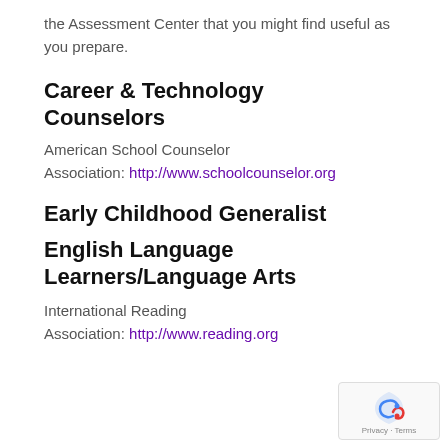the Assessment Center that you might find useful as you prepare.
Career & Technology Counselors
American School Counselor Association: http://www.schoolcounselor.org
Early Childhood Generalist
English Language Learners/Language Arts
International Reading Association: http://www.reading.org